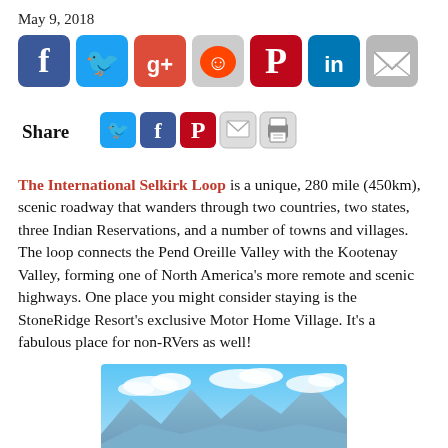May 9, 2018
[Figure (infographic): Row of large social media sharing icons: Facebook (blue), Twitter (blue), Google+ (red), Reddit (gray/orange), Pinterest (red), LinkedIn (blue), Email (gray)]
[Figure (infographic): Share bar with label 'Share' and smaller social icons: Twitter, Facebook, Pinterest, Email, Print]
The International Selkirk Loop is a unique, 280 mile (450km), scenic roadway that wanders through two countries, two states, three Indian Reservations, and a number of towns and villages. The loop connects the Pend Oreille Valley with the Kootenay Valley, forming one of North America's more remote and scenic highways. One place you might consider staying is the StoneRidge Resort's exclusive Motor Home Village. It's a fabulous place for non-RVers as well!
[Figure (photo): Scenic mountain range photo with blue sky and clouds, viewed from above or across a valley]